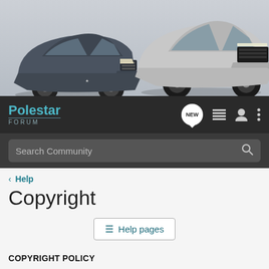[Figure (photo): Two Polestar electric cars side by side on a light grey gradient background. Left: dark grey Polestar 2 sedan, Right: silver/white Polestar 1 coupe, both facing front-slightly-angled.]
Polestar FORUM — navigation bar with NEW chat button, list icon, user icon, and menu icon
Search Community
< Help
Copyright
≡ Help pages
COPYRIGHT POLICY
Reporting Claims of Copyright Infringement